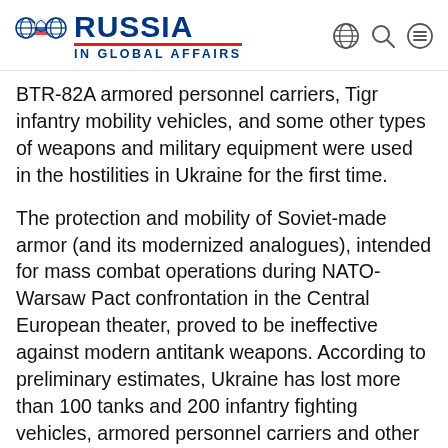RUSSIA IN GLOBAL AFFAIRS
BTR-82A armored personnel carriers, Tigr infantry mobility vehicles, and some other types of weapons and military equipment were used in the hostilities in Ukraine for the first time.
The protection and mobility of Soviet-made armor (and its modernized analogues), intended for mass combat operations during NATO-Warsaw Pact confrontation in the Central European theater, proved to be ineffective against modern antitank weapons. According to preliminary estimates, Ukraine has lost more than 100 tanks and 200 infantry fighting vehicles, armored personnel carriers and other armored fighting vehicles, as well as 80 pieces of artillery and multiple rocket launchers. Two-thirds of these losses were irrecoverable. The losses of armor and artillery